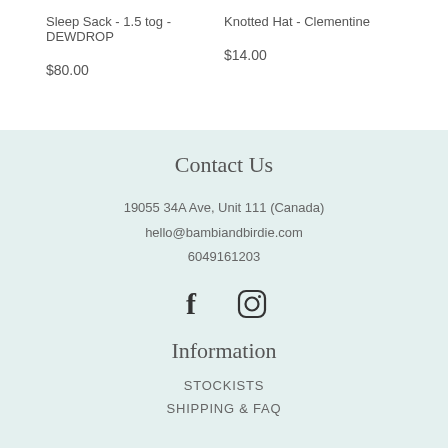Sleep Sack - 1.5 tog - DEWDROP
Knotted Hat - Clementine
$80.00
$14.00
Contact Us
19055 34A Ave, Unit 111 (Canada)
hello@bambiandbirdie.com
6049161203
[Figure (illustration): Facebook and Instagram social media icons]
Information
STOCKISTS
SHIPPING & FAQ